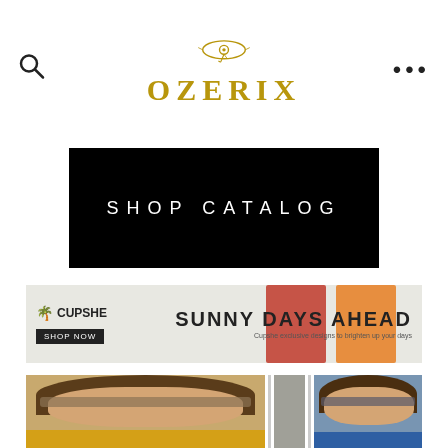[Figure (logo): Ozerix brand logo with Eye of Horus symbol above the text OZERIX in gold serif letters]
[Figure (other): Search icon (magnifying glass) on the left and three dots menu icon on the right in the header]
[Figure (other): Black rectangular button with white letter-spaced text reading SHOP CATALOG]
[Figure (other): Cupshe advertisement banner: SUNNY DAYS AHEAD with two female models in bikinis, Cupshe logo and SHOP NOW button on the left]
[Figure (photo): Two product photos of women wearing sunglasses: left shows woman in yellow top with cat-eye glasses, right shows woman in blue top with sunglasses]